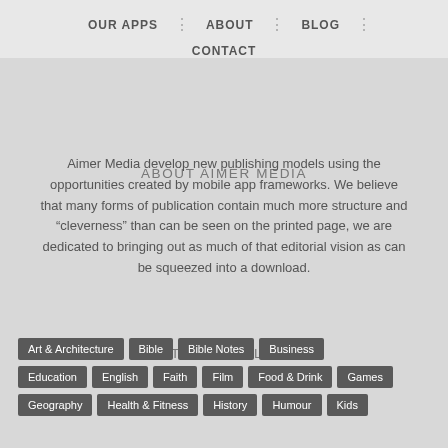OUR APPS | ABOUT | BLOG | CONTACT
ABOUT AIMER MEDIA
Aimer Media develop new publishing models using the opportunities created by mobile app frameworks. We believe that many forms of publication contain much more structure and “cleverness” than can be seen on the printed page, we are dedicated to bringing out as much of that editorial vision as can be squeezed into a download.
CATEGORY CLOUD
Art & Architecture
Bible
Bible Notes
Business
Education
English
Faith
Film
Food & Drink
Games
Geography
Health & Fitness
History
Humour
Kids